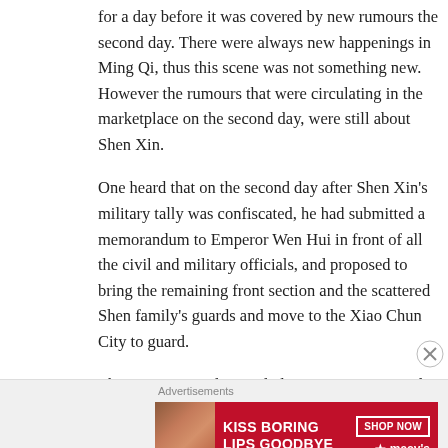for a day before it was covered by new rumours the second day. There were always new happenings in Ming Qi, thus this scene was not something new. However the rumours that were circulating in the marketplace on the second day, were still about Shen Xin.
One heard that on the second day after Shen Xin's military tally was confiscated, he had submitted a memorandum to Emperor Wen Hui in front of all the civil and military officials, and proposed to bring the remaining front section and the scattered Shen family's guards and move to the Xiao Chun City to guard.
The once outstanding and glorious Great General actually wanted to guard a small city. Others all felt that it was something unimaginable, and thought that Shen Xin was nursing a grievance. To take the initiative to submit a memorandum when nursing a grievance, meant that he felt unhappy with Emperor Wen Hui's punishment, and made a decision in a rage.
Advertisements
[Figure (illustration): Advertisement banner for Macy's lipstick: red background with woman's lips, text 'KISS BORING LIPS GOODBYE', 'SHOP NOW' button, and Macy's star logo]